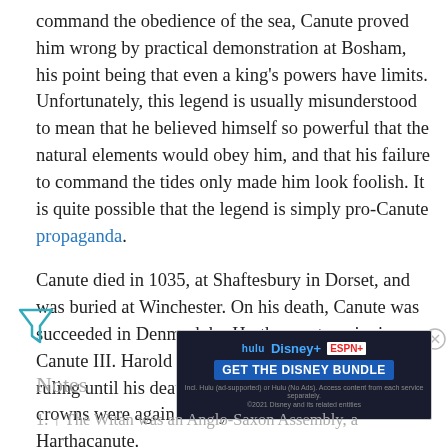command the obedience of the sea, Canute proved him wrong by practical demonstration at Bosham, his point being that even a king's powers have limits. Unfortunately, this legend is usually misunderstood to mean that he believed himself so powerful that the natural elements would obey him, and that his failure to command the tides only made him look foolish. It is quite possible that the legend is simply pro-Canute propaganda.
Canute died in 1035, at Shaftesbury in Dorset, and was buried at Winchester. On his death, Canute was succeeded in Denmark by Harthacanute, reigning as Canute III. Harold took power in England, however, ruling until his death (1040), whereupon the two crowns were again briefly reunited under Harthacanute.
[Figure (other): Advertisement banner for Hulu, Disney+, and ESPN+ Disney Bundle with 'GET THE DISNEY BUNDLE' call to action]
Notes
1. ↑ The Witan was an Anglo-Saxon Assembly, a